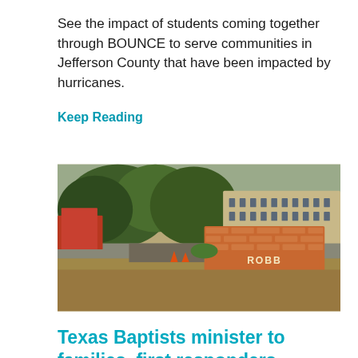See the impact of students coming together through BOUNCE to serve communities in Jefferson County that have been impacted by hurricanes.
Keep Reading
[Figure (photo): Outdoor photograph of Robb Elementary School sign — a brick monument sign reading ROBB ELEMENTARY SCHOOL — with trees, a parking lot, and a school building in the background.]
Texas Baptists minister to families, first responders following school shooting in Uvalde